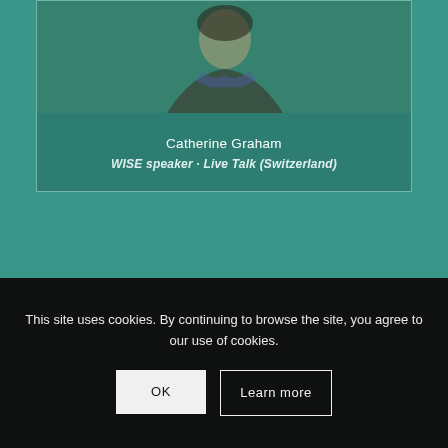[Figure (photo): Portrait photo of Catherine Graham with teal/green color overlay, showing a person from shoulders up]
Catherine Graham
WISE speaker · Live Talk (Switzerland)
This site uses cookies. By continuing to browse the site, you agree to our use of cookies.